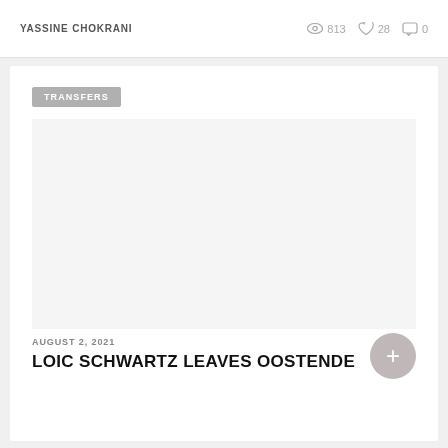YASSINE CHOKRANI
813  28  0
TRANSFERS
[Figure (photo): Large image placeholder area, blank/white]
AUGUST 2, 2021
LOIC SCHWARTZ LEAVES OOSTENDE